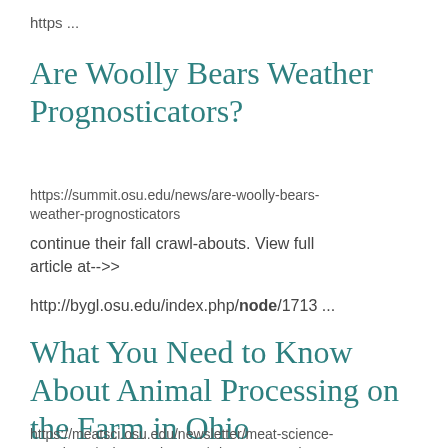https ...
Are Woolly Bears Weather Prognosticators?
https://summit.osu.edu/news/are-woolly-bears-weather-prognosticators
continue their fall crawl-abouts. View full article at-->>
http://bygl.osu.edu/index.php/node/1713 ...
What You Need to Know About Animal Processing on the Farm in Ohio
https://meatsci.osu.edu/newsletter/meat-science-newsletter/volume-2-issue-2/what-you-need